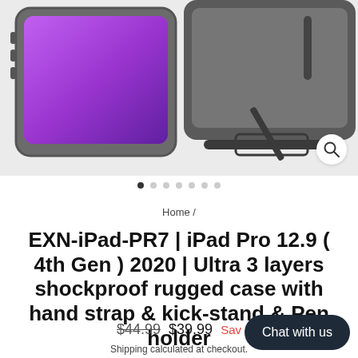[Figure (photo): iPad Pro case product photo showing a dark grey/black rugged case with hand strap and kickstand, displayed at an angle on a light grey background]
Home /
EXN-iPad-PR7 | iPad Pro 12.9 ( 4th Gen ) 2020 | Ultra 3 layers shockproof rugged case with hand strap & kick-stand & Pen holder
$44.99  $39.99  Save
Shipping calculated at checkout.